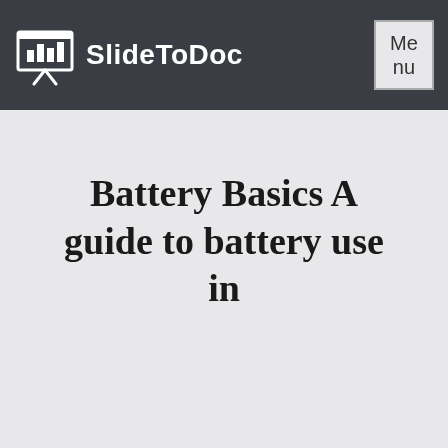SlideToDoc
Battery Basics A guide to battery use in